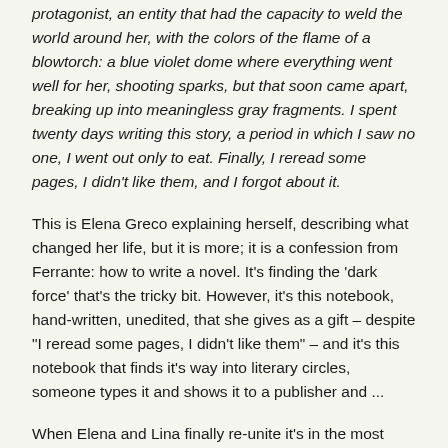protagonist, an entity that had the capacity to weld the world around her, with the colors of the flame of a blowtorch: a blue violet dome where everything went well for her, shooting sparks, but that soon came apart, breaking up into meaningless gray fragments. I spent twenty days writing this story, a period in which I saw no one, I went out only to eat. Finally, I reread some pages, I didn't like them, and I forgot about it.
This is Elena Greco explaining herself, describing what changed her life, but it is more; it is a confession from Ferrante: how to write a novel. It's finding the 'dark force' that's the tricky bit. However, it's this notebook, hand-written, unedited, that she gives as a gift – despite "I reread some pages, I didn't like them" – and it's this notebook that finds it's way into literary circles, someone types it and shows it to a publisher and ...
When Elena and Lina finally re-unite it's in the most unlikely of places; two women, one about to be hoisted aloft, the other about